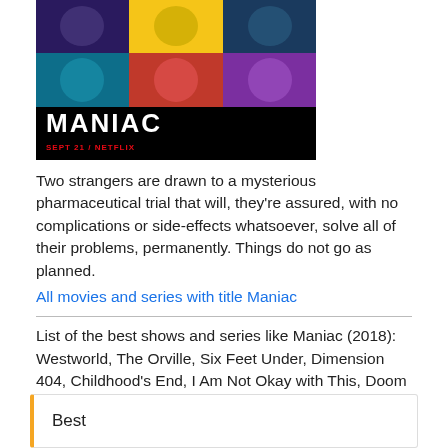[Figure (photo): MANIAC Netflix promotional poster showing a grid of faces on a dark background with colored panels, text 'MANIAC SEPT 21 / NETFLIX']
Two strangers are drawn to a mysterious pharmaceutical trial that will, they're assured, with no complications or side-effects whatsoever, solve all of their problems, permanently. Things do not go as planned.
All movies and series with title Maniac
List of the best shows and series like Maniac (2018): Westworld, The Orville, Six Feet Under, Dimension 404, Childhood's End, I Am Not Okay with This, Doom Patrol, The Umbrella Academy, The Society, Philip K. Dick's Electric Dreams.
Best